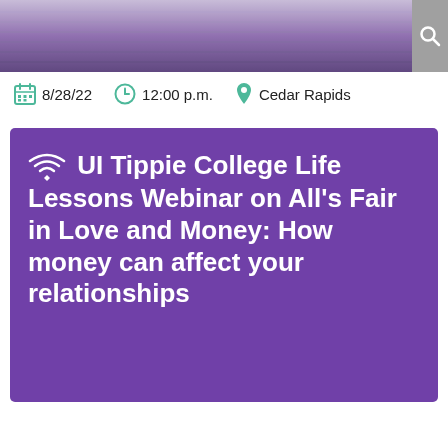[Figure (photo): Header image showing blurred purple/gray background resembling stacked books or stadium seating, with a gray search button on the right]
8/28/22   12:00 p.m.   Cedar Rapids
UI Tippie College Life Lessons Webinar on All's Fair in Love and Money: How money can affect your relationships